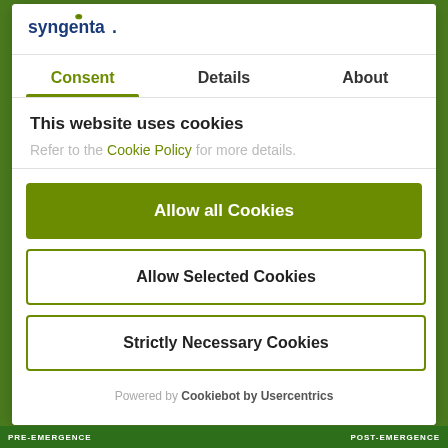[Figure (logo): Syngenta logo in blue and green]
Consent | Details | About
This website uses cookies
Refer to the Cookie Policy for more details.
Allow all Cookies
Allow Selected Cookies
Strictly Necessary Cookies
Powered by Cookiebot by Usercentrics